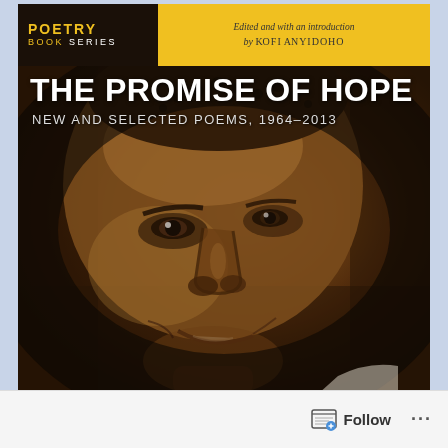[Figure (illustration): Book cover of 'The Promise of Hope: New and Selected Poems, 1964-2013'. Features a sepia-toned close-up portrait of an African man's face smiling slightly, with a dark/black background. Top left has a 'Poetry Book Series' logo on dark background. Top right has a yellow banner reading 'Edited and with an introduction by Kofi Anyidoho'. White bold title text overlays the upper portion.]
THE PROMISE OF HOPE
NEW AND SELECTED POEMS, 1964–2013
Edited and with an introduction by Kofi Anyidoho
Follow ···